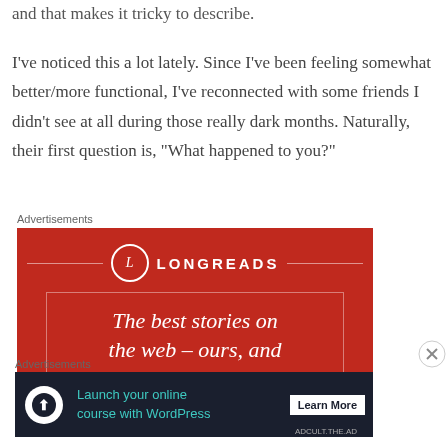and that makes it tricky to describe.
I've noticed this a lot lately. Since I've been feeling somewhat better/more functional, I've reconnected with some friends I didn't see at all during those really dark months. Naturally, their first question is, “What happened to you?”
Advertisements
[Figure (illustration): Longreads advertisement banner with red background showing logo and tagline 'The best stories on the web – ours, and']
Advertisements
[Figure (illustration): WordPress advertisement banner with dark background: 'Launch your online course with WordPress' with Learn More button]